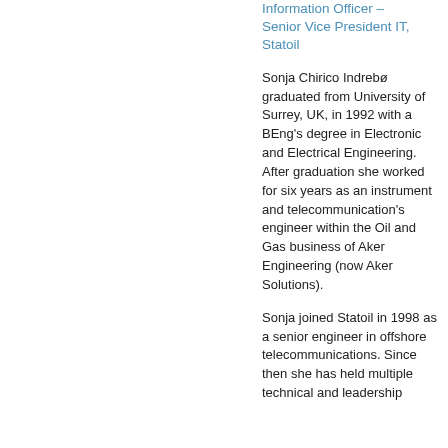Information Officer – Senior Vice President IT, Statoil
Sonja Chirico Indrebø graduated from University of Surrey, UK, in 1992 with a BEng's degree in Electronic and Electrical Engineering. After graduation she worked for six years as an instrument and telecommunication's engineer within the Oil and Gas business of Aker Engineering (now Aker Solutions).
Sonja joined Statoil in 1998 as a senior engineer in offshore telecommunications. Since then she has held multiple technical and leadership